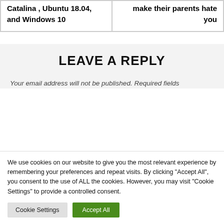| Catalina , Ubuntu 18.04, and Windows 10 | make their parents hate you |
LEAVE A REPLY
Your email address will not be published. Required fields
We use cookies on our website to give you the most relevant experience by remembering your preferences and repeat visits. By clicking "Accept All", you consent to the use of ALL the cookies. However, you may visit "Cookie Settings" to provide a controlled consent.